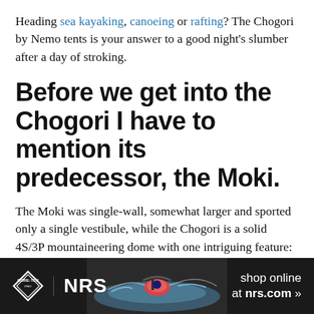Heading sea kayaking, canoeing or rafting? The Chogori by Nemo tents is your answer to a good night's slumber after a day of stroking.
Before we get into the Chogori I have to mention its predecessor, the Moki.
The Moki was single-wall, somewhat larger and sported only a single vestibule, while the Chogori is a solid 4S/3P mountaineering dome with one intriguing feature: you can link two of them together at their front doors.
[Figure (photo): Advertisement banner at bottom: Gore-Tex Pro and NRS logos on left, kayaker in whitewater in center, 'shop online at nrs.com' text on right, dark background.]